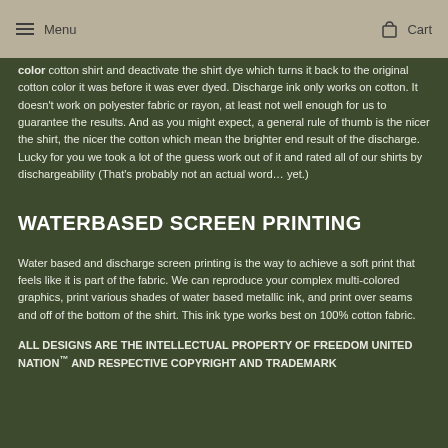Menu   Cart
color cotton shirt and deactivate the shirt dye which turns it back to the original cotton color it was before it was ever dyed. Discharge ink only works on cotton. It doesn't work on polyester fabric or rayon, at least not well enough for us to guarantee the results. And as you might expect, a general rule of thumb is the nicer the shirt, the nicer the cotton which mean the brighter end result of the discharge. Lucky for you we took a lot of the guess work out of it and rated all of our shirts by dischargeability (That's probably not an actual word… yet.)
WATERBASED SCREEN PRINTING
Water based and discharge screen printing is the way to achieve a soft print that feels like it is part of the fabric. We can reproduce your complex multi-colored graphics, print various shades of water based metallic ink, and print over seams and off of the bottom of the shirt. This ink type works best on 100% cotton fabric.
ALL DESIGNS ARE THE INTELLECTUAL PROPERTY OF FREEDOM UNITED NATION™ AND RESPECTIVE COPYRIGHT AND TRADEMARK